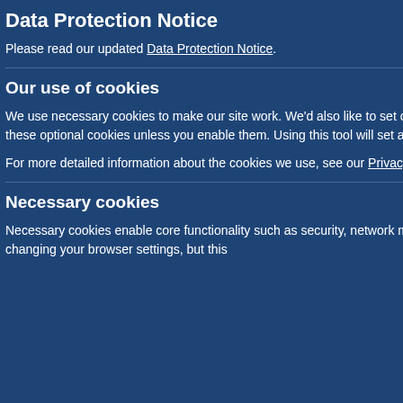Data Protection Notice
Please read our updated Data Protection Notice.
Our use of cookies
We use necessary cookies to make our site work. We'd also like to set optional analytics cookies to help us improve it. We won't set these optional cookies unless you enable them. Using this tool will set a cookie on your device to remember your preferences.
For more detailed information about the cookies we use, see our Privacy Policy page
Necessary cookies
Necessary cookies enable core functionality such as security, network management, and accessibility. You may disable these by changing your browser settings, but this